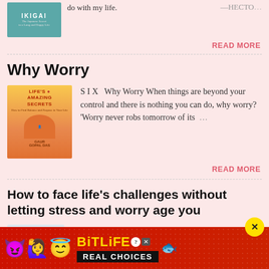[Figure (illustration): Book cover for IKIGAI with teal/blue background]
do with my life.
—HECTO…
READ MORE
Why Worry
[Figure (illustration): Book cover for Life's Amazing Secrets by Gaur Gopal Das]
S I X  Why Worry When things are beyond your control and there is nothing you can do, why worry? 'Worry never robs tomorrow of its …
READ MORE
How to face life's challenges without letting stress and worry age you
[Figure (illustration): Book cover thumbnail at bottom]
IX    RESILIENCE AND WABI-SABI How to
[Figure (infographic): BitLife advertisement banner with emojis and 'REAL CHOICES' text]